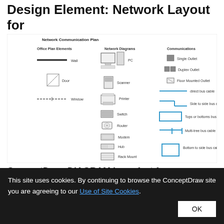Design Element: Network Layout for Network Diagrams
[Figure (screenshot): Network Communication Plan diagram showing Office Plan Elements (Wall, Door, Window), Network Diagram symbols (PC, Scanner, Printer, Switch, Router, Modem, Hub, Rack Mount), and Communications cable types (Single Outlet, Duplex Outlet, Floor Mounted Outlet, direct bus cable, side to side bus cable, tops or bottoms bus cable, multi-tree bus cable, bottom to side bus cable).]
ConceptDraw DIAGRAM is perfect for
This site uses cookies. By continuing to browse the ConceptDraw site you are agreeing to our Use of Site Cookies.